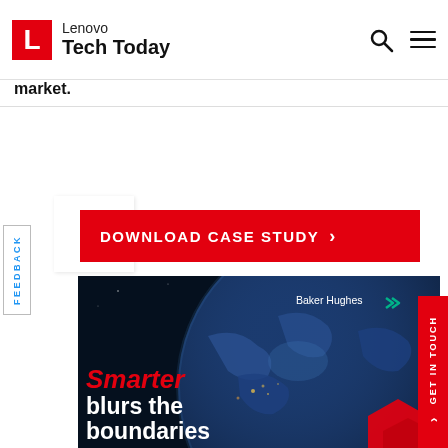Lenovo Tech Today
market.
DOWNLOAD CASE STUDY >
FEEDBACK
[Figure (photo): Baker Hughes case study image showing Earth globe from space with text 'Smarter blurs the boundaries' overlaid in red and white, with Baker Hughes logo in top right corner and a red hexagon shape in bottom right.]
GET IN TOUCH >